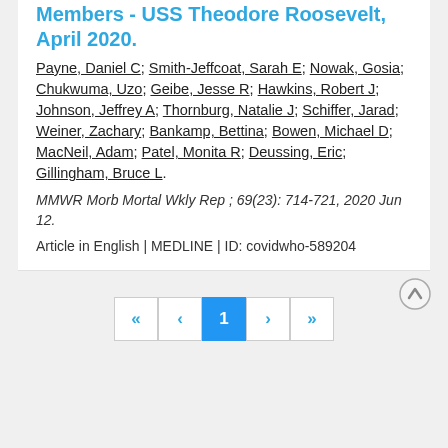Members - USS Theodore Roosevelt, April 2020.
Payne, Daniel C; Smith-Jeffcoat, Sarah E; Nowak, Gosia; Chukwuma, Uzo; Geibe, Jesse R; Hawkins, Robert J; Johnson, Jeffrey A; Thornburg, Natalie J; Schiffer, Jarad; Weiner, Zachary; Bankamp, Bettina; Bowen, Michael D; MacNeil, Adam; Patel, Monita R; Deussing, Eric; Gillingham, Bruce L.
MMWR Morb Mortal Wkly Rep ; 69(23): 714-721, 2020 Jun 12.
Article in English | MEDLINE | ID: covidwho-589204
« ‹ 1 › »